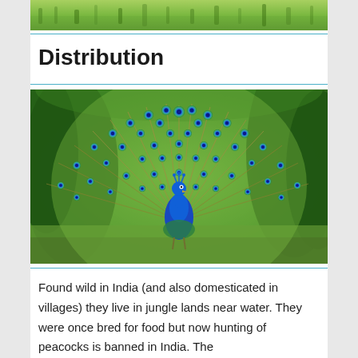[Figure (photo): Top portion of a green grassy landscape photo, cropped at top of page]
Distribution
[Figure (photo): A peacock with its tail feathers fully fanned out in display, standing in lush green jungle foliage]
Found wild in India (and also domesticated in villages) they live in jungle lands near water. They were once bred for food but now hunting of peacocks is banned in India. The